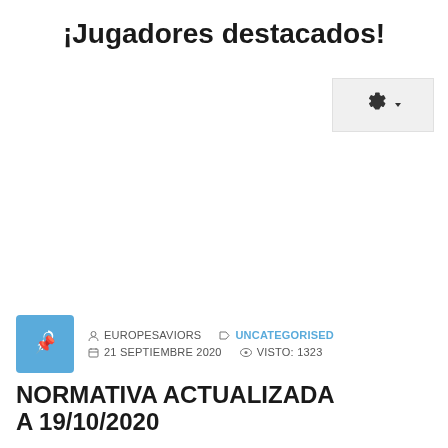¡Jugadores destacados!
[Figure (screenshot): Gear/settings button icon with dropdown arrow on light grey background]
EUROPESAVIORS   UNCATEGORISED   21 SEPTIEMBRE 2020   VISTO: 1323
NORMATIVA ACTUALIZADA A 19/10/2020